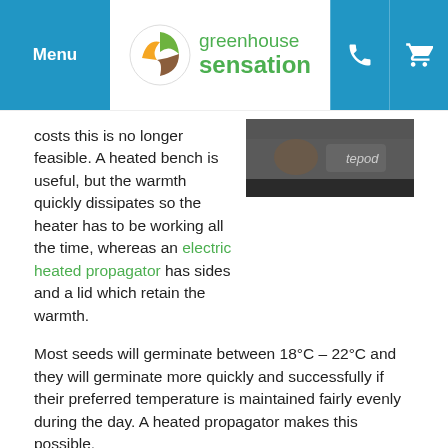Menu | greenhouse sensation
[Figure (photo): Partial product image, dark background with greenhouse propagator product visible]
costs this is no longer feasible. A heated bench is useful, but the warmth quickly dissipates so the heater has to be working all the time, whereas an electric heated propagator has sides and a lid which retain the warmth.
Most seeds will germinate between 18°C – 22°C and they will germinate more quickly and successfully if their preferred temperature is maintained fairly evenly during the day. A heated propagator makes this possible.
Some exotic seeds and very hot chillies require temperatures up to 30°C, a heated propagator is essential for these in the UK.
Electric heated propagators are